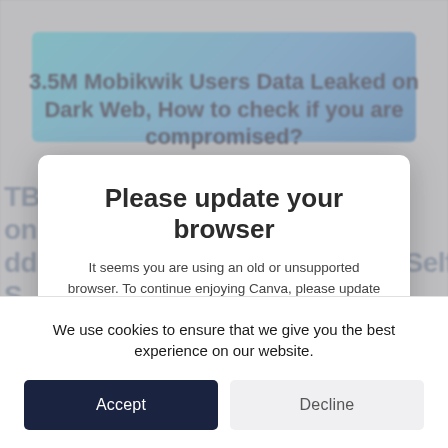[Figure (screenshot): Background screenshot of a webpage showing an article titled '3.5M Mobikwik Users Data Leaked on Dark Web, How to check if you are compromised?' with author Amogh Gupta, dated 30 March 2021, category General, Hacked. A browser update modal overlay appears on top of the article.]
Please update your browser
It seems you are using an old or unsupported browser. To continue enjoying Canva, please update to a recent version of one of the following browsers:
We use cookies to ensure that we give you the best experience on our website.